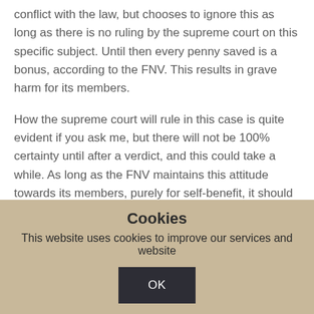conflict with the law, but chooses to ignore this as long as there is no ruling by the supreme court on this specific subject. Until then every penny saved is a bonus, according to the FNV. This results in grave harm for its members.
How the supreme court will rule in this case is quite evident if you ask me, but there will not be 100% certainty until after a verdict, and this could take a while. As long as the FNV maintains this attitude towards its members, purely for self-benefit, it should not be
Cookies
This website uses cookies to improve our services and website